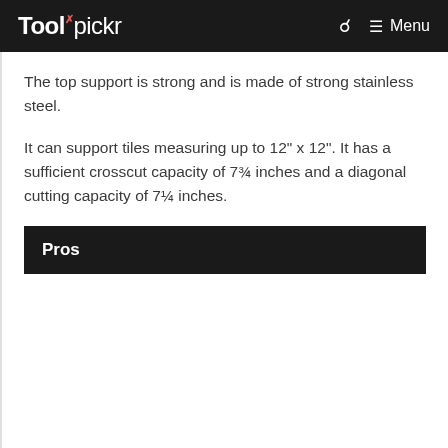Toolpickr  🔍  ≡ Menu
The top support is strong and is made of strong stainless steel.
It can support tiles measuring up to 12" x 12". It has a sufficient crosscut capacity of 7¾ inches and a diagonal cutting capacity of 7¼ inches.
Pros